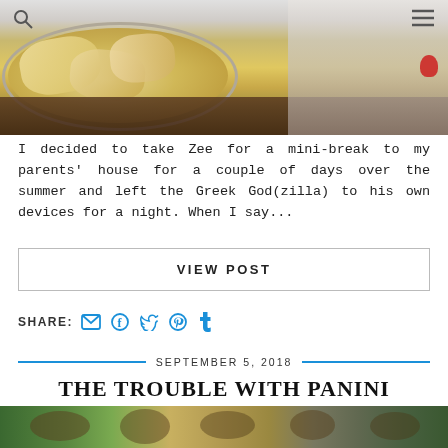[Figure (photo): Photo of a bowl of chips/crisps on a dark surface with a kitchen background. Navigation icons (search magnifying glass and hamburger menu) visible in top corners.]
I decided to take Zee for a mini-break to my parents' house for a couple of days over the summer and left the Greek God(zilla) to his own devices for a night. When I say...
VIEW POST
SHARE:
SEPTEMBER 5, 2018
THE TROUBLE WITH PANINI WORLD CUP STICKERS
[Figure (photo): Partial bottom strip showing a photo, appears to be people outdoors with green foliage.]